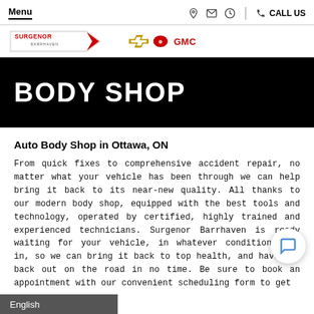Menu | CALL US
[Figure (logo): Surgenor Barrhaven Chevrolet Buick GMC logo]
BODY SHOP
Auto Body Shop in Ottawa, ON
From quick fixes to comprehensive accident repair, no matter what your vehicle has been through we can help bring it back to its near-new quality. All thanks to our modern body shop, equipped with the best tools and technology, operated by certified, highly trained and experienced technicians. Surgenor Barrhaven is ready waiting for your vehicle, in whatever condition it's in, so we can bring it back to top health, and have you back out on the road in no time. Be sure to book an appointment with our convenient scheduling form to get